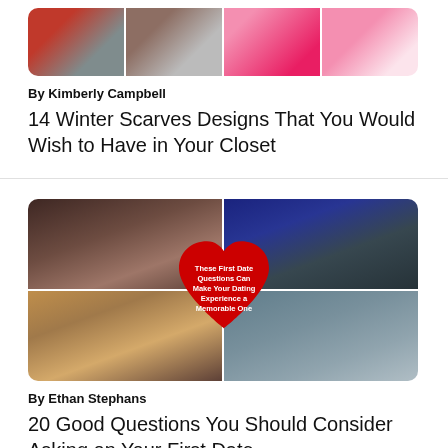[Figure (photo): Four winter scarf designs shown side by side, including plaid and pink scarves]
By Kimberly Campbell
14 Winter Scarves Designs That You Would Wish to Have in Your Closet
[Figure (photo): Collage of four date night photos with a red heart overlay reading: These First Date Questions Can Make Your Dating Experience a Memorable One]
By Ethan Stephans
20 Good Questions You Should Consider Asking on Your First Date